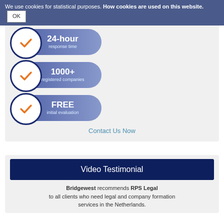We use cookies for statistical purposes. How cookies are used on this website. OK
[Figure (infographic): Three badge/pill icons each with a dark navy circle containing an orange checkmark on the left and a blue gradient pill shape on the right. First badge: '24-hour response time'. Second badge: '1000+ registered companies'. Third badge: 'FREE initial evaluation'.]
Contact Us Now
Video Testimonial
Bridgewest recommends RPS Legal to all clients who need legal and company formation services in the Netherlands.